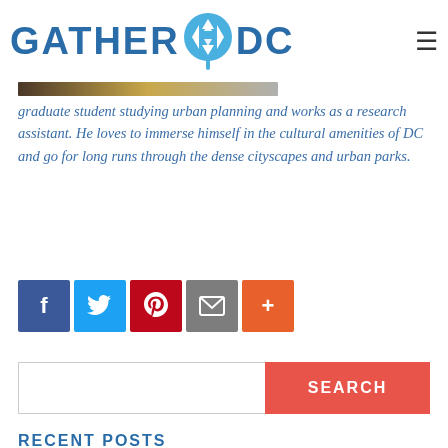[Figure (logo): GatherDC logo with blue text and a location pin icon containing a Star of David]
[Figure (photo): Partial image strip showing a cropped banner photo]
graduate student studying urban planning and works as a research assistant. He loves to immerse himself in the cultural amenities of DC and go for long runs through the dense cityscapes and urban parks.
[Figure (infographic): Social share buttons: Facebook, Twitter, Pinterest, Email, More (+)]
[Figure (infographic): Search bar with text input and red SEARCH button]
RECENT POSTS